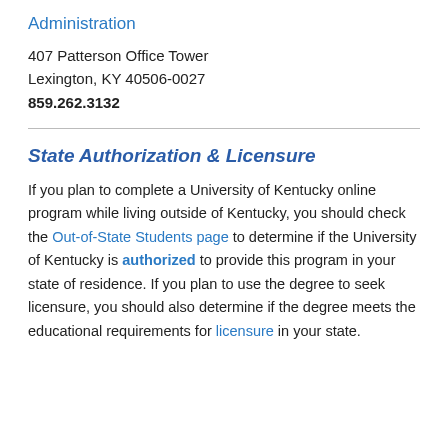Administration
407 Patterson Office Tower
Lexington, KY 40506-0027
859.262.3132
State Authorization & Licensure
If you plan to complete a University of Kentucky online program while living outside of Kentucky, you should check the Out-of-State Students page to determine if the University of Kentucky is authorized to provide this program in your state of residence. If you plan to use the degree to seek licensure, you should also determine if the degree meets the educational requirements for licensure in your state.